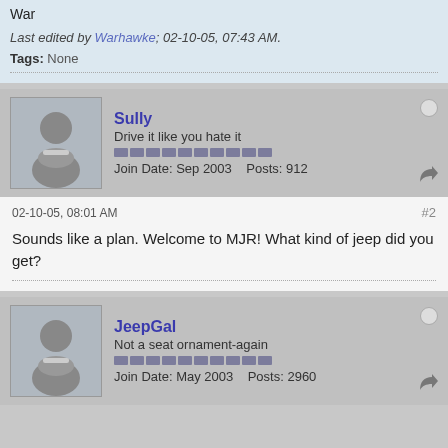War
Last edited by Warhawke; 02-10-05, 07:43 AM.
Tags: None
Sully
Drive it like you hate it
Join Date: Sep 2003  Posts: 912
02-10-05, 08:01 AM
#2
Sounds like a plan. Welcome to MJR! What kind of jeep did you get?
JeepGal
Not a seat ornament-again
Join Date: May 2003  Posts: 2960